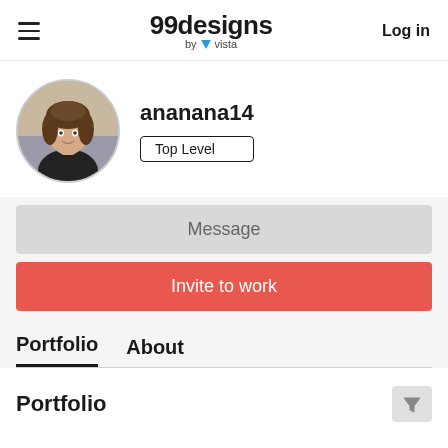99designs by vista — Log in
[Figure (photo): Circular profile photo of a woman with curly hair wearing a black top, seated casually]
ananana14
Top Level
Message
Invite to work
Portfolio
About
Portfolio